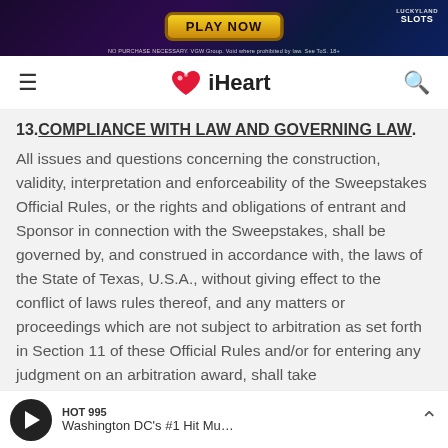[Figure (screenshot): LuckyLand Slots advertisement banner with 'PLAY NOW' button on dark background]
[Figure (logo): iHeart radio navigation bar with hamburger menu, iHeart logo, and search icon]
13. COMPLIANCE WITH LAW AND GOVERNING LAW.
All issues and questions concerning the construction, validity, interpretation and enforceability of the Sweepstakes Official Rules, or the rights and obligations of entrant and Sponsor in connection with the Sweepstakes, shall be governed by, and construed in accordance with, the laws of the State of Texas, U.S.A., without giving effect to the conflict of laws rules thereof, and any matters or proceedings which are not subject to arbitration as set forth in Section 11 of these Official Rules and/or for entering any judgment on an arbitration award, shall take
HOT 995 — Washington DC's #1 Hit Mu...